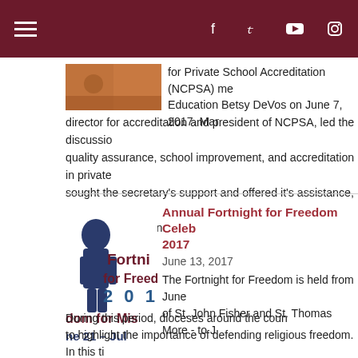Navigation bar with hamburger menu and social icons (Facebook, Twitter, YouTube, Instagram)
for Private School Accreditation (NCPSA) met with Secretary of Education Betsy DeVos on June 7, 2017. Mar director for accreditation and president of NCPSA, led the discussion on quality assurance, school improvement, and accreditation in private schools, sought the secretary's support and offered it's assistance, as we co choice in education.
Annual Fortnight for Freedom Celebration 2017
June 13, 2017
The Fortnight for Freedom is held from June of St. John Fisher and St. Thomas More - to J During this period, dioceses around the coun to highlight the importance of defending religious freedom. In this ti polarization in our culture, we can contribute to a better understanding a way that respects all people.